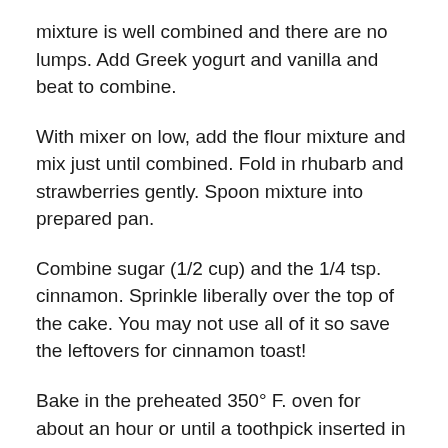mixture is well combined and there are no lumps. Add Greek yogurt and vanilla and beat to combine.
With mixer on low, add the flour mixture and mix just until combined. Fold in rhubarb and strawberries gently. Spoon mixture into prepared pan.
Combine sugar (1/2 cup) and the 1/4 tsp. cinnamon. Sprinkle liberally over the top of the cake. You may not use all of it so save the leftovers for cinnamon toast!
Bake in the preheated 350° F. oven for about an hour or until a toothpick inserted in the center comes out clean. ***Start checking cake at 50 minutes. If the top is browning quickly, place aluminum foil loosely over the top.***
Place pan on a wire cooling rack and, if using a springform pan, allow to cool for 10 or 15 minutes and then run a